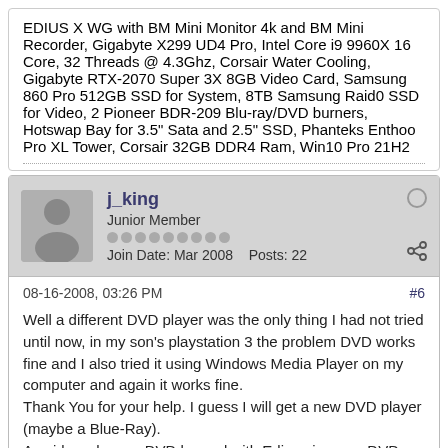EDIUS X WG with BM Mini Monitor 4k and BM Mini Recorder, Gigabyte X299 UD4 Pro, Intel Core i9 9960X 16 Core, 32 Threads @ 4.3Ghz, Corsair Water Cooling, Gigabyte RTX-2070 Super 3X 8GB Video Card, Samsung 860 Pro 512GB SSD for System, 8TB Samsung Raid0 SSD for Video, 2 Pioneer BDR-209 Blu-ray/DVD burners, Hotswap Bay for 3.5" Sata and 2.5" SSD, Phanteks Enthoo Pro XL Tower, Corsair 32GB DDR4 Ram, Win10 Pro 21H2
j_king
Junior Member
Join Date: Mar 2008    Posts: 22
08-16-2008, 03:26 PM
#6
Well a different DVD player was the only thing I had not tried until now, in my son's playstation 3 the problem DVD works fine and I also tried it using Windows Media Player on my computer and again it works fine.
Thank You for your help. I guess I will get a new DVD player (maybe a Blue-Ray).
Any idea why any DVD burned with Edius gives my DVD player this problem.